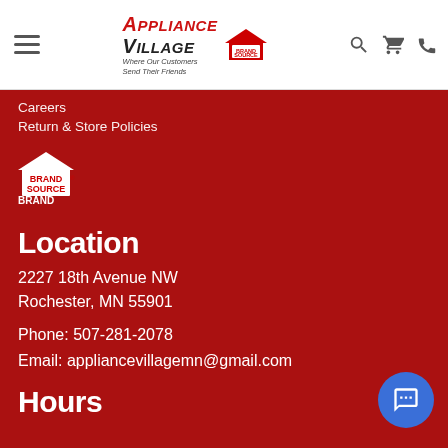[Figure (logo): Appliance Village logo with 'Where Our Customers Send Their Friends' tagline and Brand Source logo]
Appliance Village — Where Our Customers Send Their Friends | Brand Source
Careers
Return & Store Policies
[Figure (logo): Brand Source logo — house icon with BRAND SOURCE text]
Location
2227 18th Avenue NW
Rochester, MN 55901
Phone: 507-281-2078
Email: appliancevillagemn@gmail.com
Hours